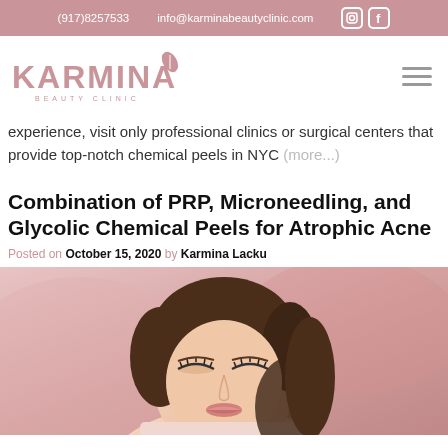(917)8257533   info@karminabeautyclinic.com
[Figure (logo): Karmina Beauty Clinic logo in pink/rose]
experience, visit only professional clinics or surgical centers that provide top-notch chemical peels in NYC (more...)
Combination of PRP, Microneedling, and Glycolic Chemical Peels for Atrophic Acne
Posted on October 15, 2020 by Karmina Lacku
[Figure (photo): Woman with closed eyes lying back, receiving beauty treatment, pink toned background]